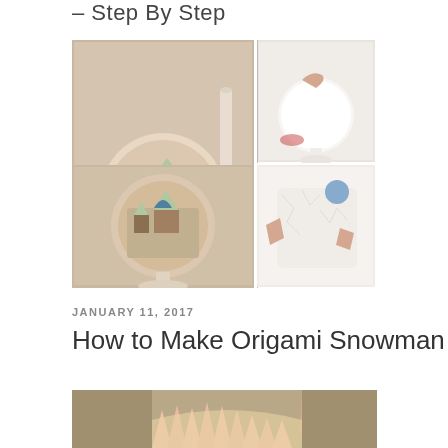– Step By Step
[Figure (photo): Collage of 5 step-by-step craft photos showing decoupage Christmas globe/vase creation process]
JANUARY 11, 2017
How to Make Origami Snowman
[Figure (photo): Hands working on origami snowman craft with pink/white folded paper segments]